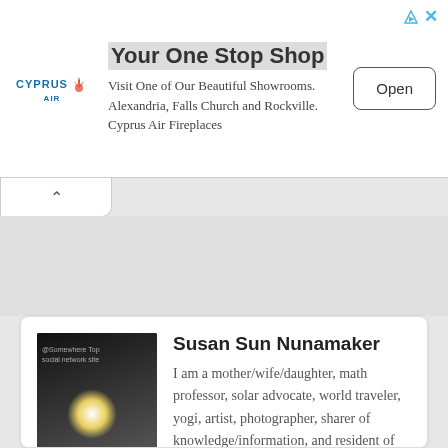[Figure (screenshot): Advertisement banner for Cyprus Air Fireplaces with logo, title 'Your One Stop Shop', body text, and Open button]
Your One Stop Shop
Visit One of Our Beautiful Showrooms. Alexandria, Falls Church and Rockville. Cyprus Air Fireplaces
Susan Sun Nunamaker
I am a mother/wife/daughter, math professor, solar advocate, world traveler, yogi, artist, photographer, sharer of knowledge/information, and resident of Windermere, FL. I've worked professionally in applied math, engineering, medical research, and as a university math professor in IL and FL for about 20 years. My husband and I loved Disney and